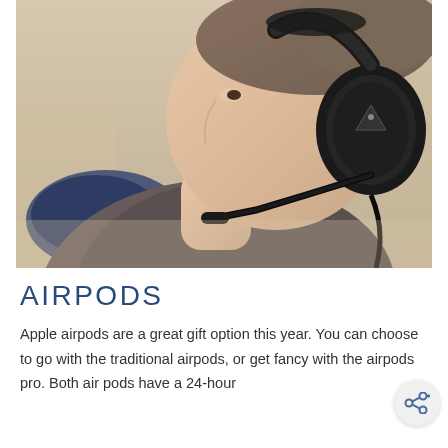[Figure (photo): A young man wearing a black gaming headset (Turtle Beach brand) with a microphone boom, viewed from the side profile. He is wearing a dark grey t-shirt. The background is blurred showing an indoor setting.]
AIRPODS
Apple airpods are a great gift option this year. You can choose to go with the traditional airpods, or get fancy with the airpods pro. Both air pods have a 24-hour